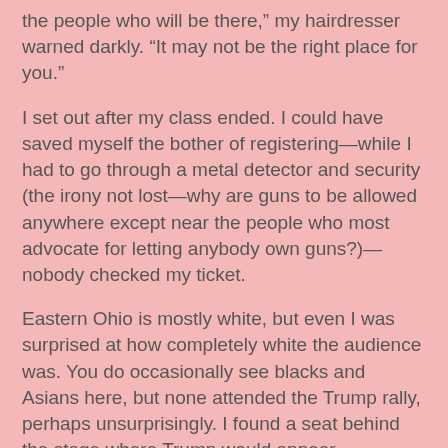the people who will be there,” my hairdresser warned darkly. “It may not be the right place for you.”
I set out after my class ended. I could have saved myself the bother of registering—while I had to go through a metal detector and security (the irony not lost—why are guns to be allowed anywhere except near the people who most advocate for letting anybody own guns?)—nobody checked my ticket.
Eastern Ohio is mostly white, but even I was surprised at how completely white the audience was. You do occasionally see blacks and Asians here, but none attended the Trump rally, perhaps unsurprisingly. I found a seat behind the stage where Trump would appear.
A man in plaid (I don’t know who) warmed up the crowd with some surprisingly populist rhetoric in which he said the following:
A country is more than a bank account. It is citizens. Being citizens